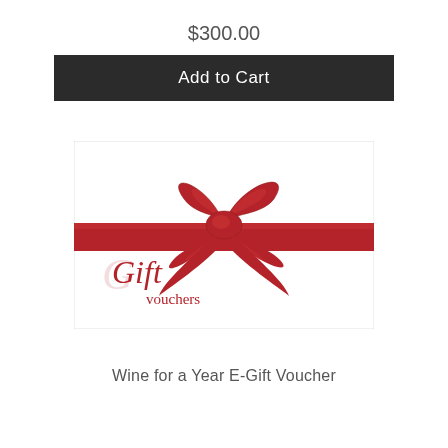$300.00
Add to Cart
[Figure (illustration): Gift voucher card with a red satin ribbon and bow, with script text reading 'Gift vouchers' in red on white background]
Wine for a Year E-Gift Voucher